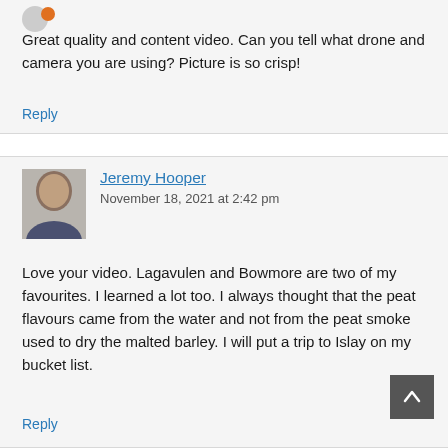Great quality and content video. Can you tell what drone and camera you are using? Picture is so crisp!
Reply
Jeremy Hooper
November 18, 2021 at 2:42 pm
Love your video. Lagavulen and Bowmore are two of my favourites. I learned a lot too. I always thought that the peat flavours came from the water and not from the peat smoke used to dry the malted barley. I will put a trip to Islay on my bucket list.
Reply